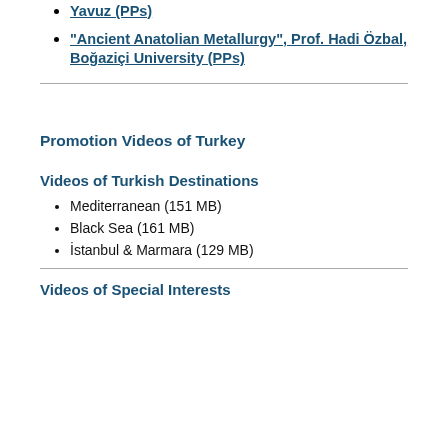Yavuz (PPs)
"Ancient Anatolian Metallurgy", Prof. Hadi Özbal, Boğaziçi University (PPs)
Promotion Videos of Turkey
Videos of Turkish Destinations
Mediterranean (151 MB)
Black Sea (161 MB)
İstanbul & Marmara (129 MB)
Videos of Special Interests